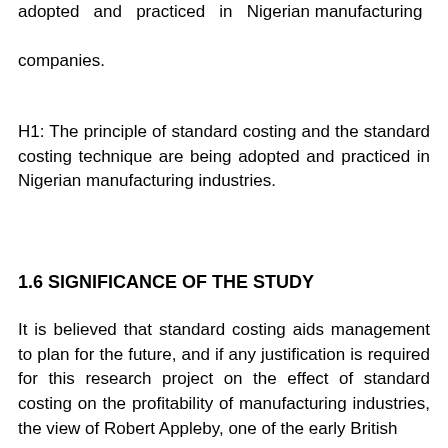adopted and practiced in Nigerian manufacturing companies.
H1: The principle of standard costing and the standard costing technique are being adopted and practiced in Nigerian manufacturing industries.
1.6 SIGNIFICANCE OF THE STUDY
It is believed that standard costing aids management to plan for the future, and if any justification is required for this research project on the effect of standard costing on the profitability of manufacturing industries, the view of Robert Appleby, one of the early British